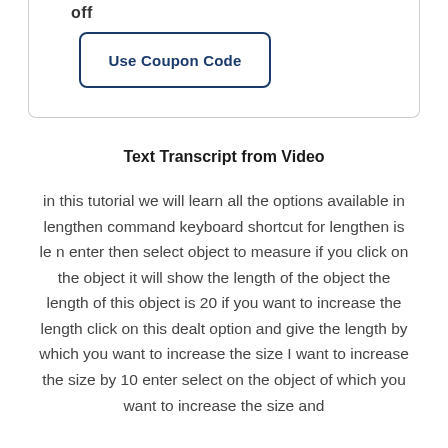off
Use Coupon Code
Text Transcript from Video
in this tutorial we will learn all the options available in lengthen command keyboard shortcut for lengthen is le n enter then select object to measure if you click on the object it will show the length of the object the length of this object is 20 if you want to increase the length click on this dealt option and give the length by which you want to increase the size I want to increase the size by 10 enter select on the object of which you want to increase the size and